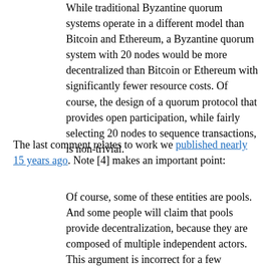While traditional Byzantine quorum systems operate in a different model than Bitcoin and Ethereum, a Byzantine quorum system with 20 nodes would be more decentralized than Bitcoin or Ethereum with significantly fewer resource costs. Of course, the design of a quorum protocol that provides open participation, while fairly selecting 20 nodes to sequence transactions, is non-trivial.
The last comment relates to work we published nearly 15 years ago. Note [4] makes an important point:
Of course, some of these entities are pools. And some people will claim that pools provide decentralization, because they are composed of multiple independent actors. This argument is incorrect for a few reasons: (1) we retrospectively examine the historical record, and at the time of that particular block's commitment to the blockchain, there was a de facto, undeniable agreement among the pool members to act in unison, now recorded on the blockchain. (2)